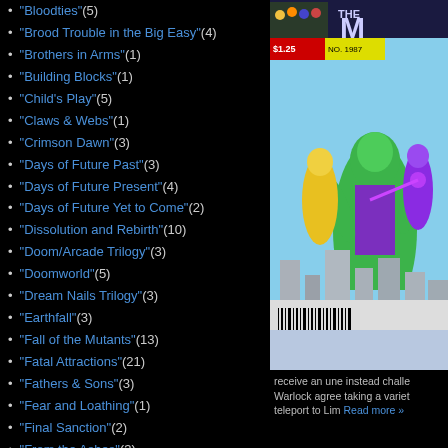"Bloodties" (5)
"Brood Trouble in the Big Easy" (4)
"Brothers in Arms" (1)
"Building Blocks" (1)
"Child's Play" (5)
"Claws & Webs" (1)
"Crimson Dawn" (3)
"Days of Future Past" (3)
"Days of Future Present" (4)
"Days of Future Yet to Come" (2)
"Dissolution and Rebirth" (10)
"Doom/Arcade Trilogy" (3)
"Doomworld" (5)
"Dream Nails Trilogy" (3)
"Earthfall" (3)
"Fall of the Mutants" (13)
"Fatal Attractions" (21)
"Fathers & Sons" (3)
"Fear and Loathing" (1)
"Final Sanction" (2)
"From the Ashes" (3)
"Gene Nation" (7)
"Generation Next" (4)
[Figure (illustration): Comic book cover showing The New Mutants characters with superhero artwork]
receive an une instead challe Warlock agree taking a variet teleport to Lim Read more »